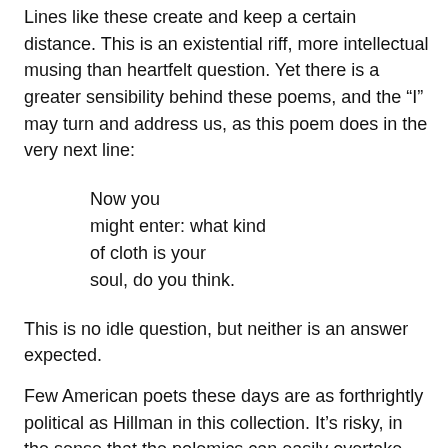Lines like these create and keep a certain distance. This is an existential riff, more intellectual musing than heartfelt question. Yet there is a greater sensibility behind these poems, and the “I” may turn and address us, as this poem does in the very next line:
Now you
might enter: what kind
of cloth is your
soul, do you think.
This is no idle question, but neither is an answer expected.
Few American poets these days are as forthrightly political as Hillman in this collection. It’s risky, in the sense that the polemics can easily overtake the poetry. In these moments however, her language gains force and there is no mistaking the meaning. Because such lines are interspersed and not the whole body of a poem, and because her poems change like quicksilver, these moments are an interesting contrast to the abstractions around them: “They were mostly raised in